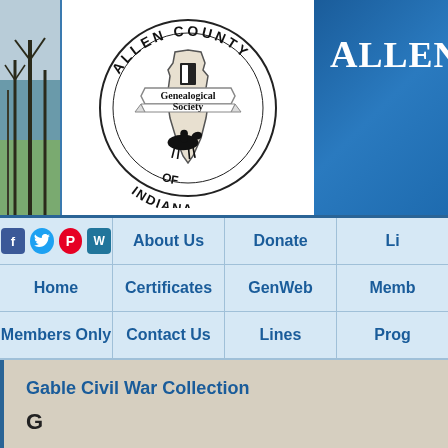[Figure (logo): Allen County Genealogical Society of Indiana logo with trees photo on left, black and white circular seal in center, and blue textured banner on right with text 'Allen C']
[Figure (screenshot): Navigation bar with social media icons (Facebook, Twitter, Pinterest, WordPress), About Us, Donate, Li[brary], Home, Certificates, GenWeb, Memb[ership], Members Only, Contact Us, Lines, Prog[rams]]
Gable Civil War Collection
G
A-Z ▾   Back to Records • Back to Gable Civil War C[ollection]
| Name | Year |
| --- | --- |